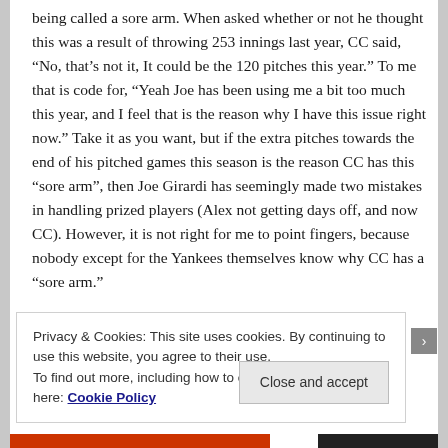being called a sore arm. When asked whether or not he thought this was a result of throwing 253 innings last year, CC said, “No, that’s not it, It could be the 120 pitches this year.” To me that is code for, “Yeah Joe has been using me a bit too much this year, and I feel that is the reason why I have this issue right now.” Take it as you want, but if the extra pitches towards the end of his pitched games this season is the reason CC has this “sore arm”, then Joe Girardi has seemingly made two mistakes in handling prized players (Alex not getting days off, and now CC). However, it is not right for me to point fingers, because nobody except for the Yankees themselves know why CC has a “sore arm.”
Privacy & Cookies: This site uses cookies. By continuing to use this website, you agree to their use.
To find out more, including how to control cookies, see here: Cookie Policy